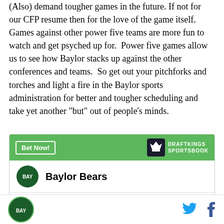(Also) demand tougher games in the future. If not for our CFP resume then for the love of the game itself. Games against other power five teams are more fun to watch and get psyched up for. Power five games allow us to see how Baylor stacks up against the other conferences and teams. So get out your pitchforks and torches and light a fire in the Baylor sports administration for better and tougher scheduling and take yet another "but" out of people's minds.
[Figure (other): DraftKings Sportsbook betting widget showing Baylor Bears team with Bet Now button and DraftKings logo]
Baylor sports logo | Twitter icon | Facebook icon